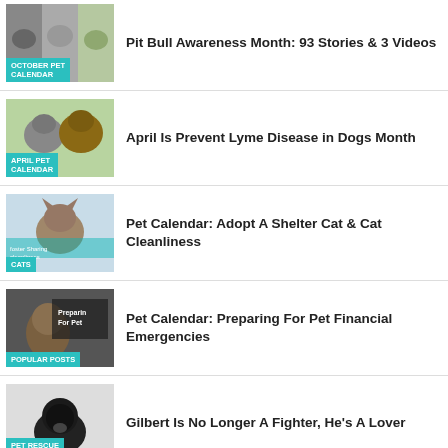Pit Bull Awareness Month: 93 Stories & 3 Videos
April Is Prevent Lyme Disease in Dogs Month
Pet Calendar: Adopt A Shelter Cat & Cat Cleanliness
Pet Calendar: Preparing For Pet Financial Emergencies
Gilbert Is No Longer A Fighter, He's A Lover